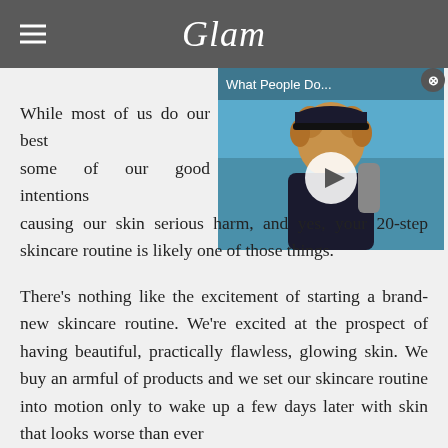Glam
[Figure (screenshot): Video thumbnail showing a person wearing a cap with text 'What People Do...' and a play button overlay]
While most of us do our best some of our good intentions causing our skin serious harm, and yes, your 20-step skincare routine is likely one of those things.
There's nothing like the excitement of starting a brand-new skincare routine. We're excited at the prospect of having beautiful, practically flawless, glowing skin. We buy an armful of products and we set our skincare routine into motion only to wake up a few days later with skin that looks worse than ever